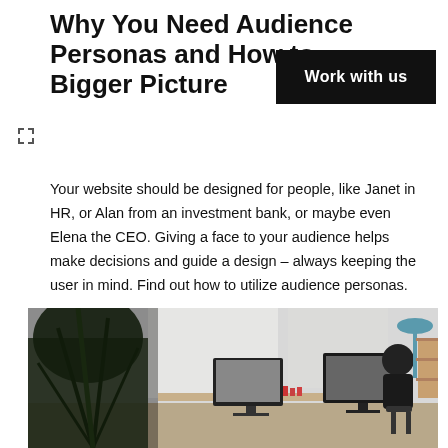Why You Need Audience Personas and How to Build Them – Bigger Picture
Work with us
Your website should be designed for people, like Janet in HR, or Alan from an investment bank, or maybe even Elena the CEO. Giving a face to your audience helps make decisions and guide a design – always keeping the user in mind. Find out how to utilize audience personas.
[Figure (photo): Office workspace photograph showing a person working at a computer desk with large plant in foreground, monitors and shelving visible in background]